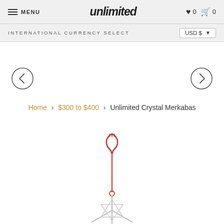MENU | unlimited | ♥ 0 🛒 0
INTERNATIONAL CURRENCY SELECT   USD $ ▾
[Figure (illustration): Left navigation arrow in circle]
[Figure (illustration): Right navigation arrow in circle]
Home › $300 to $400 › Unlimited Crystal Merkabas
[Figure (photo): Product photo of a crystal merkaba hanging pendant with red cord, metal stand, and clear crystal merkaba star shape at the bottom, partially visible]